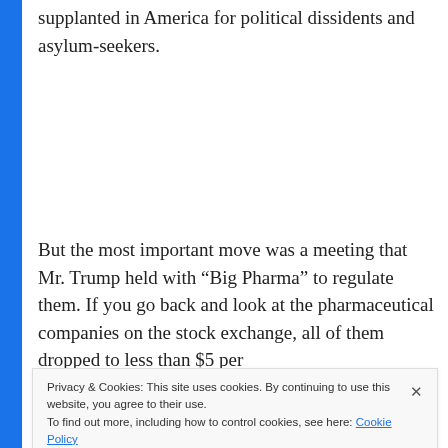supplanted in America for political dissidents and asylum-seekers.
But the most important move was a meeting that Mr. Trump held with “Big Pharma” to regulate them. If you go back and look at the pharmaceutical companies on the stock exchange, all of them dropped to less than $5 per
Privacy & Cookies: This site uses cookies. By continuing to use this website, you agree to their use.
To find out more, including how to control cookies, see here: Cookie Policy